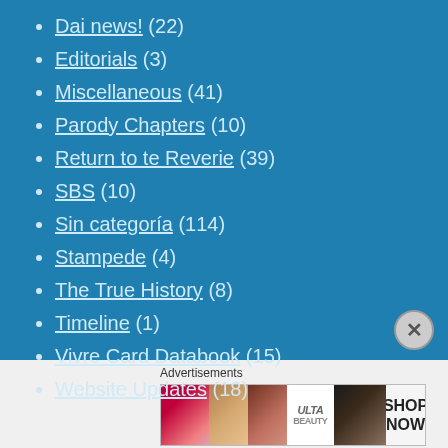Dai news! (22)
Editorials (3)
Miscellaneous (41)
Parody Chapters (10)
Return to te Reverie (39)
SBS (10)
Sin categoría (114)
Stampede (4)
The True History (8)
Timeline (1)
Vivre Card Databook (15)
Website Updates (18)
Advertisements
[Figure (photo): Ulta Beauty advertisement banner showing makeup imagery including lips, brush, eyes, and ULTA logo with SHOP NOW call to action]